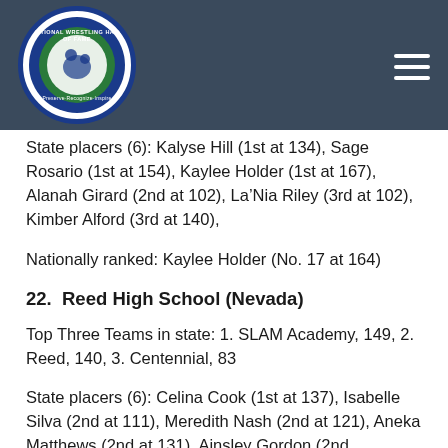[Figure (logo): National Wrestling Hall of Fame circular logo with blue border, green background, wrestler figure, and text 'Preserve Recognize Inspire']
State placers (6): Kalyse Hill (1st at 134), Sage Rosario (1st at 154), Kaylee Holder (1st at 167), Alanah Girard (2nd at 102), La’Nia Riley (3rd at 102), Kimber Alford (3rd at 140),
Nationally ranked: Kaylee Holder (No. 17 at 164)
22.  Reed High School (Nevada)
Top Three Teams in state: 1. SLAM Academy, 149, 2. Reed, 140, 3. Centennial, 83
State placers (6): Celina Cook (1st at 137), Isabelle Silva (2nd at 111), Meredith Nash (2nd at 121), Aneka Matthews (2nd at 131), Ainsley Gordon (2nd